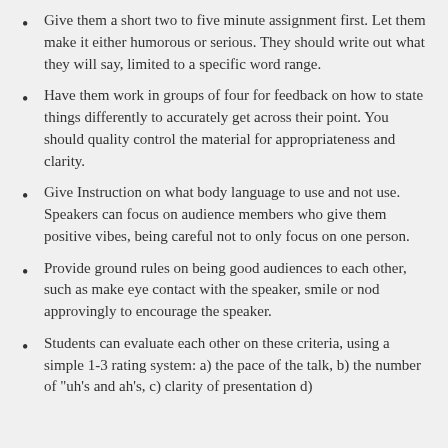Give them a short two to five minute assignment first. Let them make it either humorous or serious. They should write out what they will say, limited to a specific word range.
Have them work in groups of four for feedback on how to state things differently to accurately get across their point. You should quality control the material for appropriateness and clarity.
Give Instruction on what body language to use and not use. Speakers can focus on audience members who give them positive vibes, being careful not to only focus on one person.
Provide ground rules on being good audiences to each other, such as make eye contact with the speaker, smile or nod approvingly to encourage the speaker.
Students can evaluate each other on these criteria, using a simple 1-3 rating system: a) the pace of the talk, b) the number of "uh's and ah's, c) clarity of presentation d)